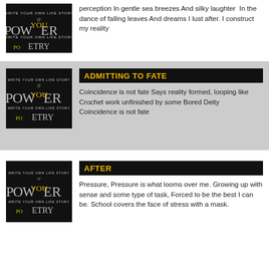[Figure (illustration): Power of Poetry book cover on black background with text 'WRITE YOUR OWN LIFE STORY POETRY']
perception In gentle sea breezes And silky laughter  In the dance of falling leaves And dreams I lust after. I construct my reality
ADMITTING TO FATE
[Figure (illustration): Power of Poetry book cover on black background with text 'WRITE YOUR OWN LIFE STORY POETRY']
Coincidence is not fate Says reality formed, looping like Crochet work unfinished by some Bored Deity  Coincidence is not fate
AFTER
[Figure (illustration): Power of Poetry book cover on black background with text 'WRITE YOUR OWN LIFE STORY POETRY']
Pressure, Pressure is what looms over me. Growing up with sense and some type of task, Forced to be the best I can be. School covers the face of stress with a mask.